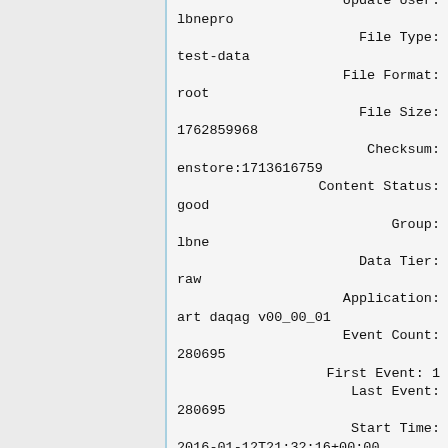Update User: lbnepro
File Type: test-data
File Format: root
File Size: 1762859968
Checksum: enstore:1713616759
Content Status: good
Group: lbne
Data Tier: raw
Application: art daqag v00_00_01
Event Count: 280695
First Event: 1
Last Event: 280695
Start Time: 2016-01-12T21:32:16+00:00